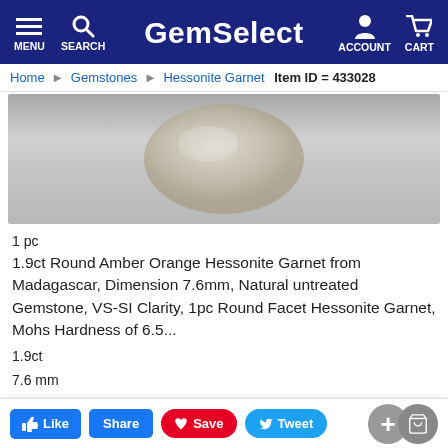GemSelect — MENU SEARCH ACCOUNT CART
Home  Gemstones  Hessonite Garnet  Item ID = 433028
[Figure (photo): Close-up photo of a round amber orange hessonite garnet gemstone on a light grey background]
1 pc
1.9ct Round Amber Orange Hessonite Garnet from Madagascar, Dimension 7.6mm, Natural untreated Gemstone, VS-SI Clarity, 1pc Round Facet Hessonite Garnet, Mohs Hardness of 6.5...
1.9ct
7.6 mm
$ 26 75